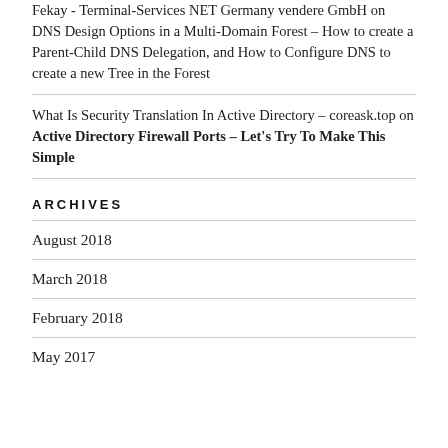Fekay - Terminal-Services NET Germany vendere GmbH on DNS Design Options in a Multi-Domain Forest – How to create a Parent-Child DNS Delegation, and How to Configure DNS to create a new Tree in the Forest
What Is Security Translation In Active Directory – coreask.top on Active Directory Firewall Ports – Let's Try To Make This Simple
ARCHIVES
August 2018
March 2018
February 2018
May 2017